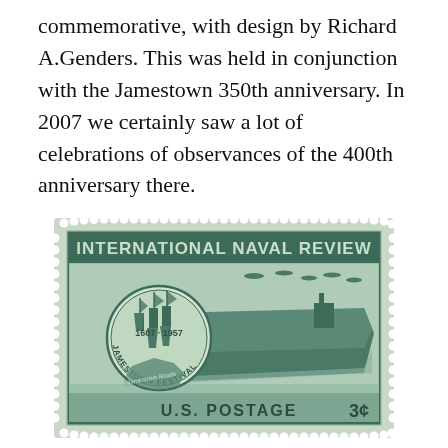commemorative, with design by Richard A.Genders. This was held in conjunction with the Jamestown 350th anniversary. In 2007 we certainly saw a lot of celebrations of observances of the 400th anniversary there.
[Figure (illustration): A U.S. postage stamp for the International Naval Review, 3 cents, featuring a Jamestown Festival medallion (1607-1957) with historic ships, a map of Jamestown Roads, and an aircraft carrier at sea with aircraft flying overhead.]